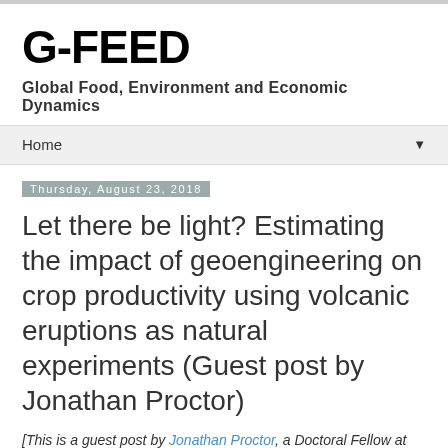G-FEED
Global Food, Environment and Economic Dynamics
Home
Thursday, August 23, 2018
Let there be light? Estimating the impact of geoengineering on crop productivity using volcanic eruptions as natural experiments (Guest post by Jonathan Proctor)
[This is a guest post by Jonathan Proctor, a Doctoral Fellow at the Global Policy Lab and PhD candidate in the Ag and Resource Econ department here at Berkeley]
On Wednesday I, and some notorious G-FEEDers...